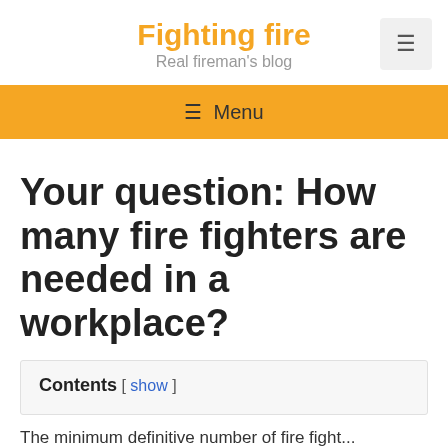Fighting fire
Real fireman's blog
≡ Menu
Your question: How many fire fighters are needed in a workplace?
Contents [ show ]
The minimum definitive number of fire fight...